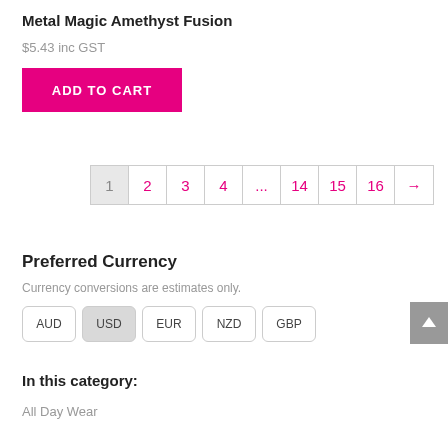Metal Magic Amethyst Fusion
$5.43 inc GST
ADD TO CART
1 2 3 4 ... 14 15 16 →
Preferred Currency
Currency conversions are estimates only.
AUD USD EUR NZD GBP
In this category:
All Day Wear